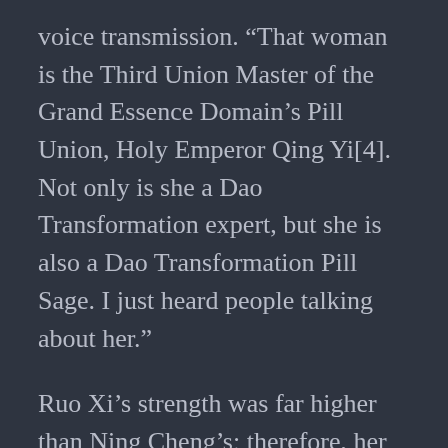voice transmission. “That woman is the Third Union Master of the Grand Essence Domain’s Pill Union, Holy Emperor Qing Yi[4]. Not only is she a Dao Transformation expert, but she is also a Dao Transformation Pill Sage. I just heard people talking about her.”
Ruo Xi’s strength was far higher than Ning Cheng’s; therefore, her hearing would naturally be better than Ning Cheng’s hearing.
No wonder everyone respected her so much. She was actually a Dao Transformation Pill Sage. However, Ning Cheng quickly turned